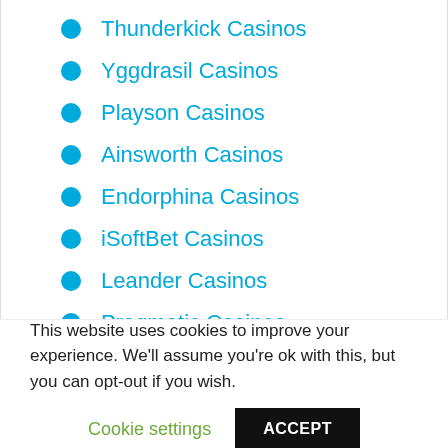Thunderkick Casinos
Yggdrasil Casinos
Playson Casinos
Ainsworth Casinos
Endorphina Casinos
iSoftBet Casinos
Leander Casinos
Pragmatic Casinos
Amatic Casinos
NEKTAN Casinos
Lightning Box Casinos
This website uses cookies to improve your experience. We'll assume you're ok with this, but you can opt-out if you wish.
Cookie settings
ACCEPT